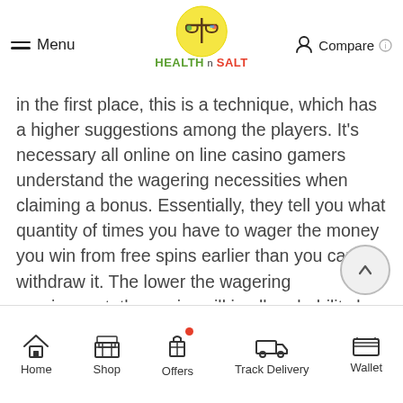Menu | HEALTHnSALT | Compare
in the first place, this is a technique, which has a higher suggestions among the players. It's necessary all online on line casino gamers understand the wagering necessities when claiming a bonus. Essentially, they tell you what quantity of times you have to wager the money you win from free spins earlier than you can withdraw it. The lower the wagering requirement, the easier will in all probability be to entry your winnings from a free spins bonus. You can play on-line slots for free by claiming completely different amounts of free spins with out depositing.
Home | Shop | Offers | Track Delivery | Wallet